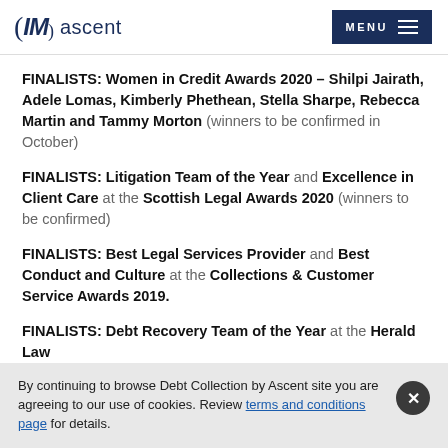IM ascent | MENU
FINALISTS: Women in Credit Awards 2020 – Shilpi Jairath, Adele Lomas, Kimberly Phethean, Stella Sharpe, Rebecca Martin and Tammy Morton (winners to be confirmed in October)
FINALISTS: Litigation Team of the Year and Excellence in Client Care at the Scottish Legal Awards 2020 (winners to be confirmed)
FINALISTS: Best Legal Services Provider and Best Conduct and Culture at the Collections & Customer Service Awards 2019.
FINALISTS: Debt Recovery Team of the Year at the Herald Law
By continuing to browse Debt Collection by Ascent site you are agreeing to our use of cookies. Review terms and conditions page for details.